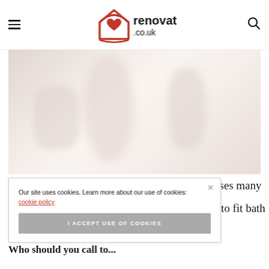renovated.co.uk
[Figure (photo): Blurred bathroom interior photo showing soft pinkish-white tones, likely a bathtub or bathroom fixtures]
Our site uses cookies. Learn more about our use of cookies: cookie policy
I ACCEPT USE OF COOKIES
…nfuses many …ow to fit bath
Who should you call to...